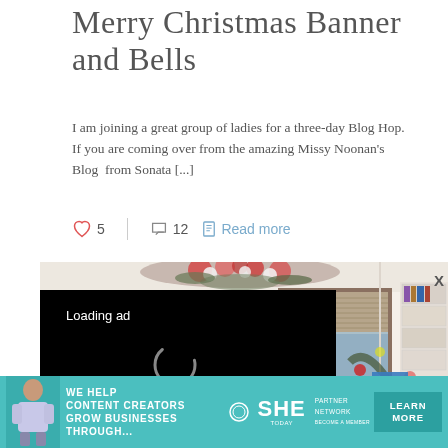Merry Christmas Banner and Bells
I am joining a great group of ladies for a three-day Blog Hop. If you are coming over from the amazing Missy Noonan's Blog  from Sonata [...]
♡ 5    | 💬 12  📄 Read more
[Figure (photo): Christmas decorated room with floral arrangement, window with bamboo blind, and decorated Christmas tree. Overlaid with a black video ad loading screen showing 'Loading ad' text, spinner, pause/fullscreen/mute controls. Blue arrow and X close button visible.]
[Figure (infographic): Teal banner advertisement: 'We help content creators grow businesses through...' with SHE PARTNER NETWORK logo and LEARN MORE button. Woman with tablet shown on left.]